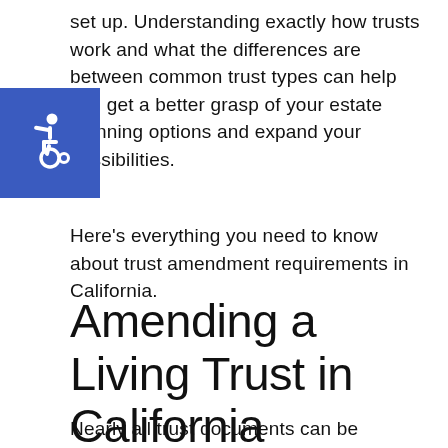set up. Understanding exactly how trusts work and what the differences are between common trust types can help you get a better grasp of your estate planning options and expand your possibilities.
[Figure (illustration): Blue square accessibility icon showing a person in a wheelchair (international symbol of access) in white on a blue background]
Here's everything you need to know about trust amendment requirements in California.
Amending a Living Trust in California
Nearly all trust documents can be amended. However, some are easier to